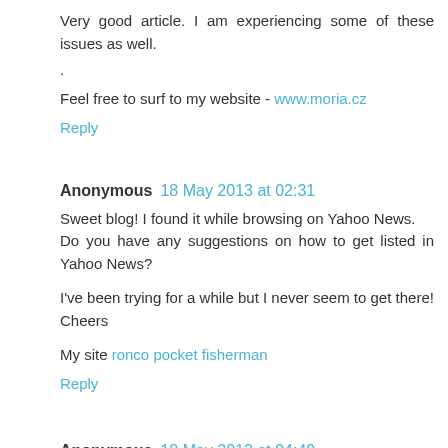Very good article. I am experiencing some of these issues as well.
.
Feel free to surf to my website - www.moria.cz
Reply
Anonymous 18 May 2013 at 02:31
Sweet blog! I found it while browsing on Yahoo News. Do you have any suggestions on how to get listed in Yahoo News?
I've been trying for a while but I never seem to get there! Cheers
My site ronco pocket fisherman
Reply
Anonymous 18 May 2013 at 04:49